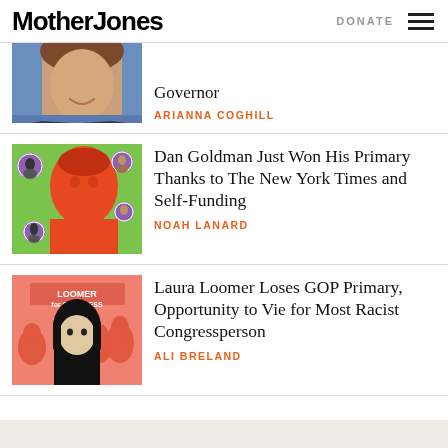Mother Jones | DONATE
Governor
ARIANNA COGHILL
[Figure (photo): Illustrated portrait of Dan Goldman on green background with purple polka dots and small circular photos of other candidates]
Dan Goldman Just Won His Primary Thanks to The New York Times and Self-Funding
NOAH LANARD
[Figure (photo): Laura Loomer in front of a Loomer for Congress sign, with figures behind her in orange-red tones]
Laura Loomer Loses GOP Primary, Opportunity to Vie for Most Racist Congressperson
ALI BRELAND